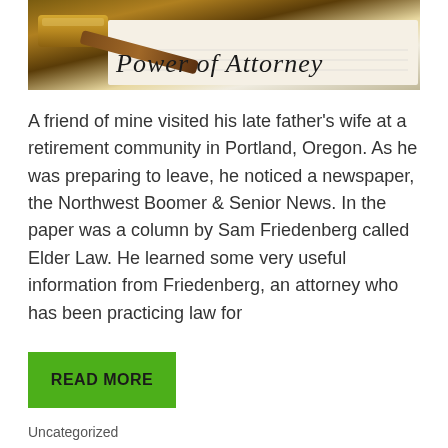[Figure (photo): A gavel resting on a document with text 'Power of Attorney' visible in italic serif font.]
A friend of mine visited his late father's wife at a retirement community in Portland, Oregon. As he was preparing to leave, he noticed a newspaper, the Northwest Boomer & Senior News. In the paper was a column by Sam Friedenberg called Elder Law. He learned some very useful information from Friedenberg, an attorney who has been practicing law for
READ MORE
Uncategorized
WHAT IS A REVERSE MORTGAGE?